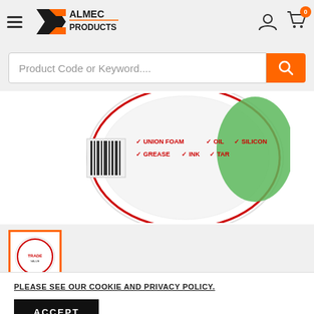[Figure (logo): Almec Products logo with AP shield icon and text]
Product Code or Keyword....
[Figure (photo): Large product image showing top-down view of Trade Value Cleaning Wipes container lid with checkmarks for FOAM, OIL, SILICON, GREASE, INK, TAR]
[Figure (photo): Small thumbnail of Trade Value Cleaning Wipes white container with red label]
Trade Value Cleaning Wipes 200pk I
PLEASE SEE OUR COOKIE AND PRIVACY POLICY.
ACCEPT